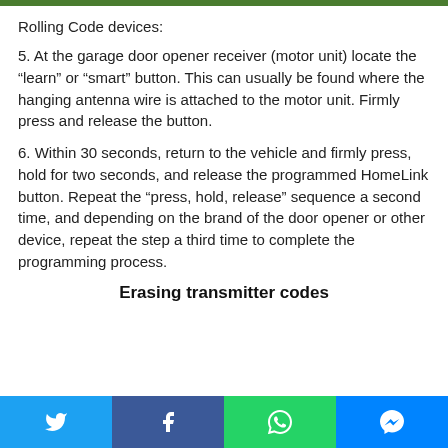Rolling Code devices:
5. At the garage door opener receiver (motor unit) locate the “learn” or “smart” button. This can usually be found where the hanging antenna wire is attached to the motor unit. Firmly press and release the button.
6. Within 30 seconds, return to the vehicle and firmly press, hold for two seconds, and release the programmed HomeLink button. Repeat the “press, hold, release” sequence a second time, and depending on the brand of the door opener or other device, repeat the step a third time to complete the programming process.
Erasing transmitter codes